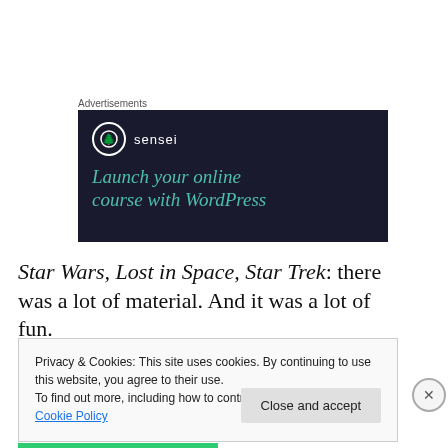Advertisements
[Figure (illustration): Sensei advertisement banner with dark navy background showing the Sensei logo (tree icon in circle) and text 'Launch your online course with WordPress' in teal italic font]
Star Wars, Lost in Space, Star Trek: there was a lot of material. And it was a lot of fun.
Privacy & Cookies: This site uses cookies. By continuing to use this website, you agree to their use.
To find out more, including how to control cookies, see here: Cookie Policy